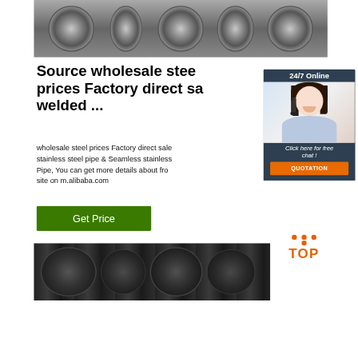[Figure (photo): Steel coil rolls stacked in a warehouse, gray metallic finish]
Source wholesale steel prices Factory direct sale welded ...
[Figure (photo): Customer service agent with headset, 24/7 Online chat widget with dark blue background and orange QUOTATION button]
wholesale steel prices Factory direct sale stainless steel pipe & Seamless stainless Pipe, You can get more details about from site on m.alibaba.com
[Figure (other): Green Get Price button]
[Figure (logo): Orange TOP logo with dots]
[Figure (photo): Black steel wire coils or flat steel strips stacked in a factory]